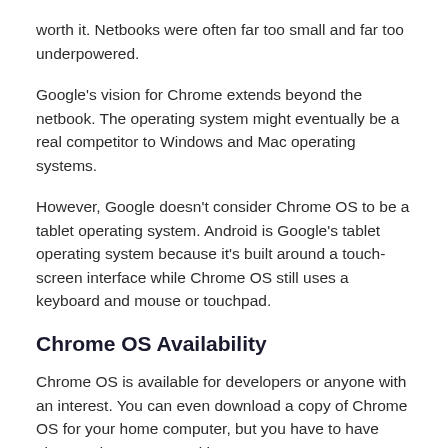worth it. Netbooks were often far too small and far too underpowered.
Google's vision for Chrome extends beyond the netbook. The operating system might eventually be a real competitor to Windows and Mac operating systems.
However, Google doesn't consider Chrome OS to be a tablet operating system. Android is Google's tablet operating system because it's built around a touch-screen interface while Chrome OS still uses a keyboard and mouse or touchpad.
Chrome OS Availability
Chrome OS is available for developers or anyone with an interest. You can even download a copy of Chrome OS for your home computer, but you have to have Linux and an account with root access.